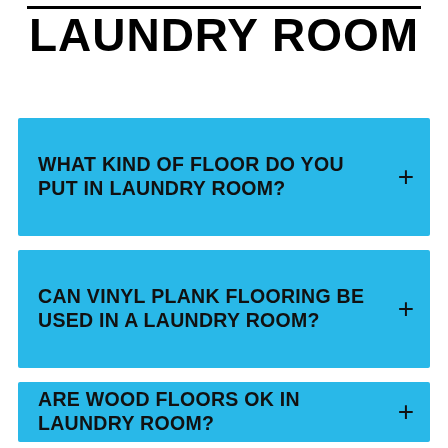LAUNDRY ROOM
WHAT KIND OF FLOOR DO YOU PUT IN LAUNDRY ROOM?
CAN VINYL PLANK FLOORING BE USED IN A LAUNDRY ROOM?
ARE WOOD FLOORS OK IN LAUNDRY ROOM?